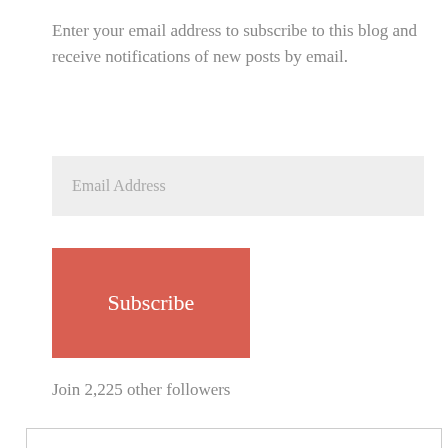Enter your email address to subscribe to this blog and receive notifications of new posts by email.
Email Address
Subscribe
Join 2,225 other followers
Privacy & Cookies: This site uses cookies. By continuing to use this website, you agree to their use.
To find out more, including how to control cookies, see here: Cookie Policy
Close and accept